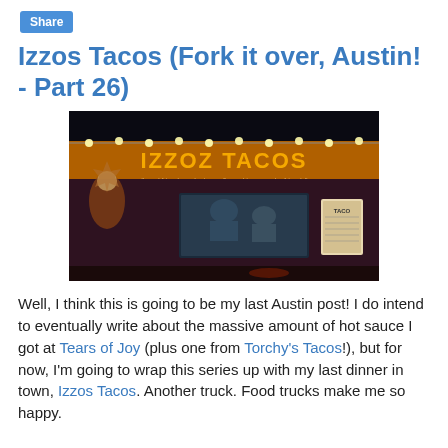Share
Izzos Tacos (Fork it over, Austin! - Part 26)
[Figure (photo): Night photo of Izzoz Tacos food truck with orange lettering on a dark purple/brown trailer. The sign reads 'IZZOZ TACOS' in large orange block letters and below 'good friends make tacos & good tacos make friends'. A painted Native American figure is on the left side. Lights line the top edge of the trailer.]
Well, I think this is going to be my last Austin post! I do intend to eventually write about the massive amount of hot sauce I got at Tears of Joy (plus one from Torchy's Tacos!), but for now, I'm going to wrap this series up with my last dinner in town, Izzos Tacos. Another truck. Food trucks make me so happy.